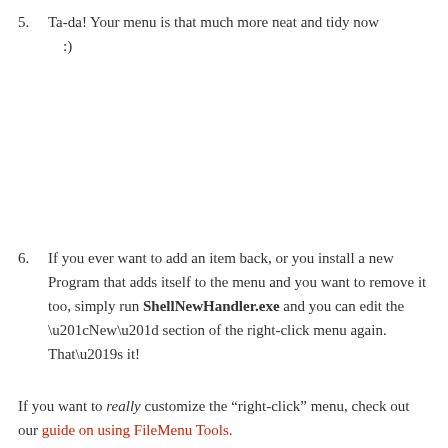5. Ta-da! Your menu is that much more neat and tidy now :)
6. If you ever want to add an item back, or you install a new Program that adds itself to the menu and you want to remove it too, simply run ShellNewHandler.exe and you can edit the “New” section of the right-click menu again. That’s it!
If you want to really customize the “right-click” menu, check out our guide on using FileMenu Tools.